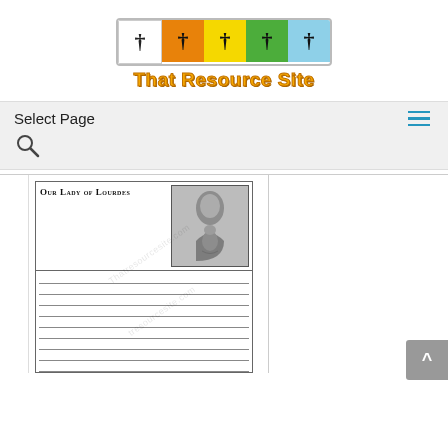[Figure (logo): That Resource Site logo: five colored boxes each with a cross symbol (white, orange, yellow, green, blue), with the text 'That Resource Site' in gold/orange bold font below]
Select Page
[Figure (screenshot): Worksheet preview titled 'Our Lady of Lourdes' with a small black-and-white image of the Virgin Mary and lined writing space below, watermarked with 'Thatresourcesite.com']